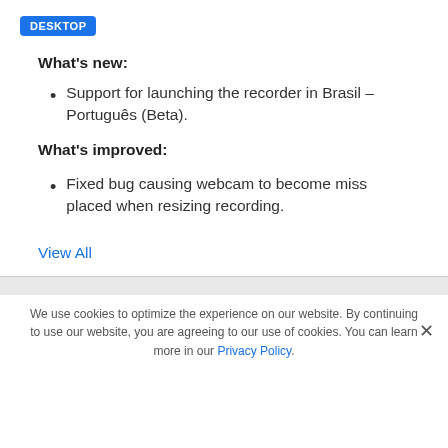DESKTOP
What's new:
Support for launching the recorder in Brasil – Português (Beta).
What's improved:
Fixed bug causing webcam to become miss placed when resizing recording.
View All
We use cookies to optimize the experience on our website. By continuing to use our website, you are agreeing to our use of cookies. You can learn more in our Privacy Policy.